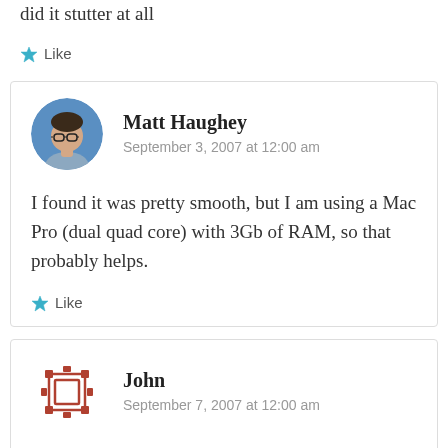did it stutter at all
Like
Matt Haughey
September 3, 2007 at 12:00 am
I found it was pretty smooth, but I am using a Mac Pro (dual quad core) with 3Gb of RAM, so that probably helps.
Like
John
September 7, 2007 at 12:00 am